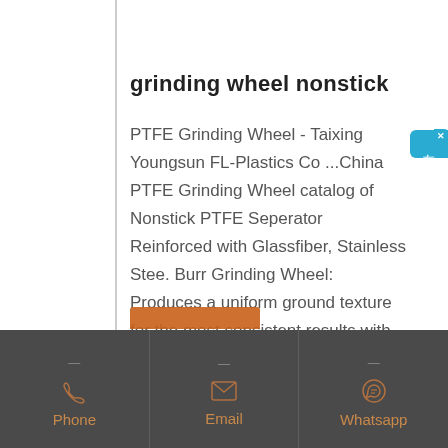grinding wheel nonstick
PTFE Grinding Wheel - Taixing Youngsun FL-Plastics Co ...China PTFE Grinding Wheel catalog of Nonstick PTFE Seperator Reinforced with Glassfiber, Stainless Stee. Burr Grinding Wheel: Produces a uniform ground texture for the most consistent results with the burr grinding wheel.
[Figure (infographic): Chinese online chat/consultation button on right side, teal/blue rounded rectangle with text 在线咨询 (online consultation) and an X close button]
Phone  Email  Whatsapp